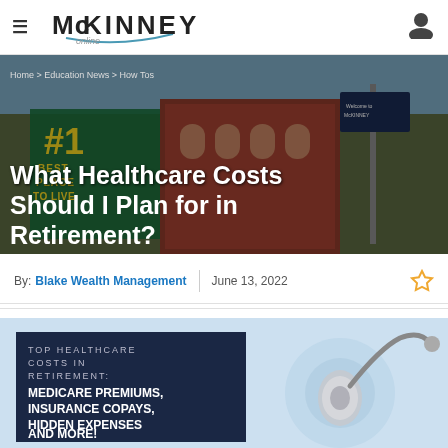McKINNEY online
[Figure (photo): City street scene with buildings and signage showing #1 Best Place to Live, used as hero background image]
Home > Education News > How Tos
What Healthcare Costs Should I Plan for in Retirement?
By: Blake Wealth Management | June 13, 2022
[Figure (infographic): Top Healthcare Costs in Retirement infographic card with dark navy background reading: TOP HEALTHCARE COSTS IN RETIREMENT: MEDICARE PREMIUMS, INSURANCE COPAYS, HIDDEN EXPENSES AND MORE! alongside a stethoscope image on light blue background]